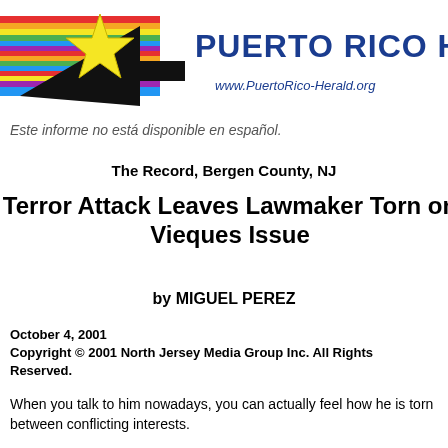[Figure (logo): Puerto Rico Herald logo with colorful horizontal stripes, a yellow star, and a black arrow pointing right, followed by 'PUERTO RICO HER' in dark blue bold text and website URL www.PuertoRico-Herald.org]
Este informe no está disponible en español.
The Record, Bergen County, NJ
Terror Attack Leaves Lawmaker Torn on Vieques Issue
by MIGUEL PEREZ
October 4, 2001
Copyright © 2001 North Jersey Media Group Inc. All Rights Reserved.
When you talk to him nowadays, you can actually feel how he is torn between conflicting interests.